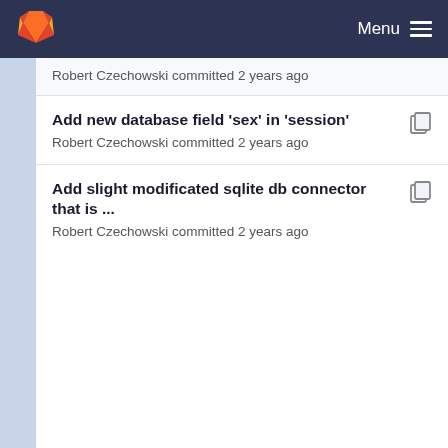Menu
Robert Czechowski committed 2 years ago
Add new database field 'sex' in 'session'
Robert Czechowski committed 2 years ago
Add slight modificated sqlite db connector that is ...
Robert Czechowski committed 2 years ago